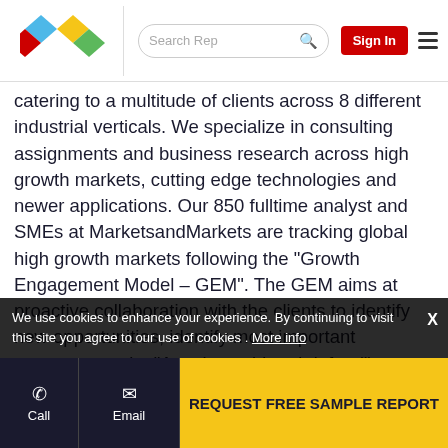[Figure (logo): MarketsandMarkets colorful diamond/rhombus logo with blue, red, yellow, green shapes]
catering to a multitude of clients across 8 different industrial verticals. We specialize in consulting assignments and business research across high growth markets, cutting edge technologies and newer applications. Our 850 fulltime analyst and SMEs at MarketsandMarkets are tracking global high growth markets following the "Growth Engagement Model – GEM". The GEM aims at proactive collaboration with the clients to identify new opportunities, identify most important customers, write "Attack, avoid and defend" strategies, identify sources of incremental revenues for both the company and its competitors.
We use cookies to enhance your experience. By continuing to visit this site you agree to our use of cookies . More info
REQUEST FREE SAMPLE REPORT